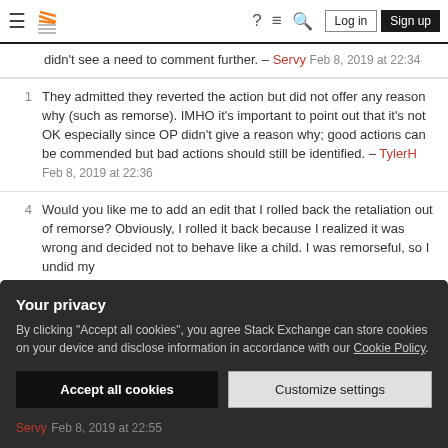Stack Exchange navigation bar with hamburger menu, logo, help, chat, search icons, Log in and Sign up buttons
didn't see a need to comment further. – Servy Feb 8, 2019 at 22:34
1 They admitted they reverted the action but did not offer any reason why (such as remorse). IMHO it's important to point out that it's not OK especially since OP didn't give a reason why; good actions can be commended but bad actions should still be identified. – TylerH Feb 8, 2019 at 22:36
4 Would you like me to add an edit that I rolled back the retaliation out of remorse? Obviously, I rolled it back because I realized it was wrong and decided not to behave like a child. I was remorseful, so I undid my
Your privacy
By clicking "Accept all cookies", you agree Stack Exchange can store cookies on your device and disclose information in accordance with our Cookie Policy.
Accept all cookies
Customize settings
Servy Feb 8, 2019 at 22:55